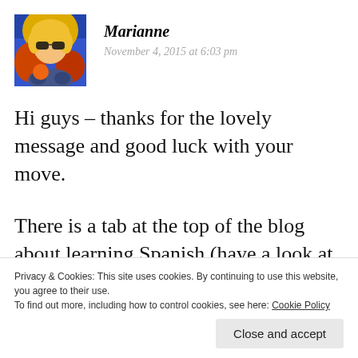[Figure (photo): Avatar photo of Marianne, a woman with blonde hair and sunglasses in a colorful image with blue/yellow/orange tones]
Marianne
November 4, 2015 at 6:03 pm
Hi guys – thanks for the lovely message and good luck with your move.
There is a tab at the top of the blog about learning Spanish (have a look at some of the excellent
Privacy & Cookies: This site uses cookies. By continuing to use this website, you agree to their use.
To find out more, including how to control cookies, see here: Cookie Policy
Close and accept